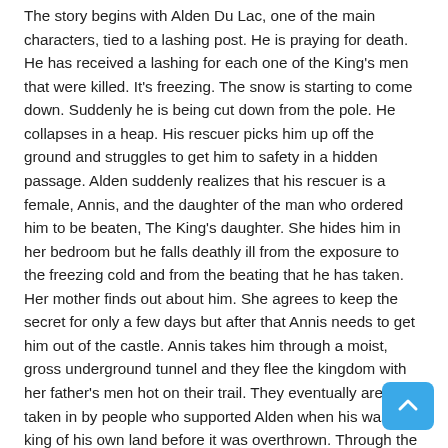The story begins with Alden Du Lac, one of the main characters, tied to a lashing post. He is praying for death. He has received a lashing for each one of the King's men that were killed. It's freezing. The snow is starting to come down. Suddenly he is being cut down from the pole. He collapses in a heap. His rescuer picks him up off the ground and struggles to get him to safety in a hidden passage. Alden suddenly realizes that his rescuer is a female, Annis, and the daughter of the man who ordered him to be beaten, The King's daughter. She hides him in her bedroom but he falls deathly ill from the exposure to the freezing cold and from the beating that he has taken. Her mother finds out about him. She agrees to keep the secret for only a few days but after that Annis needs to get him out of the castle. Annis takes him through a moist, gross underground tunnel and they flee the kingdom with her father's men hot on their trail. They eventually are taken in by people who supported Alden when his was the king of his own land before it was overthrown. Through the course of the book, they fall in love with each other and they "hand-fast" in order to protect Annis. The Du Lac name still carries power even if he is no longer a King. They eventually run away to France to ask Alden's brother for sanctuary and for an army of men to help to battle to regain their kingdom and restore power to Alden.